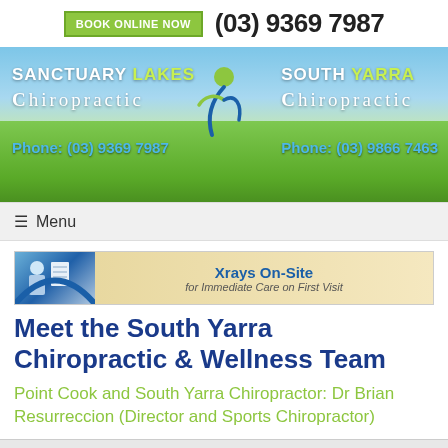BOOK ONLINE NOW   (03) 9369 7987
[Figure (illustration): Chiropractic clinic banner with outdoor nature background (sky, flowers, green grass). Left side: SANCTUARY LAKES Chiropractic, Phone: (03) 9369 7987. Center: stylized human figure logo. Right side: SOUTH YARRA Chiropractic, Phone: (03) 9866 7463]
≡ Menu
[Figure (illustration): Xray On-Site banner with doctor and patient image on left, tan background with text: Xrays On-Site for Immediate Care on First Visit]
Meet the South Yarra Chiropractic & Wellness Team
Point Cook and South Yarra Chiropractor: Dr Brian Resurreccion (Director and Sports Chiropractor)